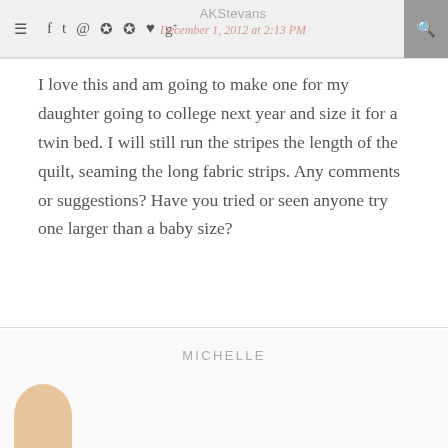AKStevans | December 1, 2012 at 2:13 PM
I love this and am going to make one for my daughter going to college next year and size it for a twin bed. I will still run the stripes the length of the quilt, seaming the long fabric strips. Any comments or suggestions? Have you tried or seen anyone try one larger than a baby size?
Reply
MICHELLE